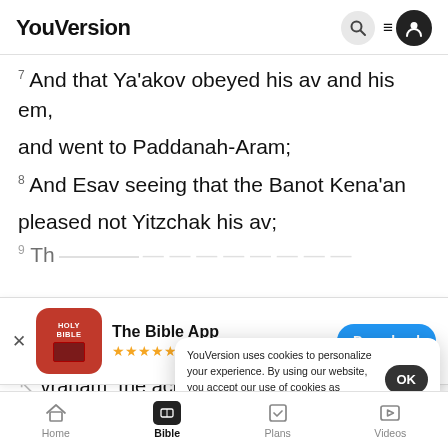YouVersion
7 And that Ya'akov obeyed his av and his em, and went to Paddanah-Aram;
8 And Esav seeing that the Banot Kena'an pleased not Yitzchak his av;
[Figure (screenshot): App download banner for The Bible App with Holy Bible icon, 5 stars, 7.9M rating, and Download button]
...vraham: the achot of Nevayot: to be his
[VAYE...
10 And Ya'akov went out from Betar-Sheva, and
YouVersion uses cookies to personalize your experience. By using our website, you accept our use of cookies as described in our Privacy Policy.